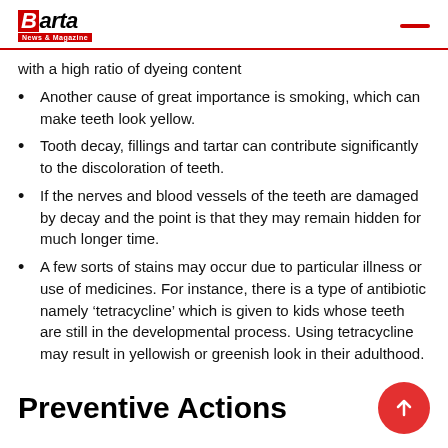Barta News & Magazine
with a high ratio of dyeing content
Another cause of great importance is smoking, which can make teeth look yellow.
Tooth decay, fillings and tartar can contribute significantly to the discoloration of teeth.
If the nerves and blood vessels of the teeth are damaged by decay and the point is that they may remain hidden for much longer time.
A few sorts of stains may occur due to particular illness or use of medicines. For instance, there is a type of antibiotic namely ‘tetracycline’ which is given to kids whose teeth are still in the developmental process. Using tetracycline may result in yellowish or greenish look in their adulthood.
Preventive Actions